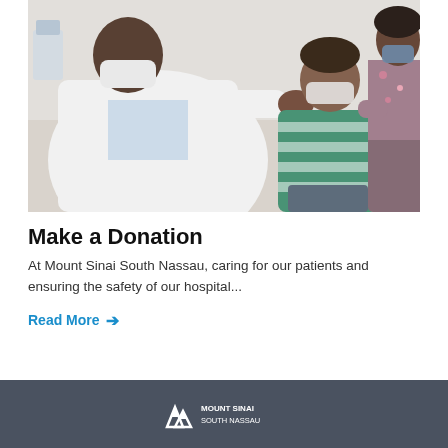[Figure (photo): A doctor in a white coat and face mask examining or fitting a face mask on a young boy in a green and white striped shirt, with a woman (likely the mother) in a floral top holding the child from behind, in a medical office setting.]
Make a Donation
At Mount Sinai South Nassau, caring for our patients and ensuring the safety of our hospital...
Read More →
[Figure (logo): Mount Sinai South Nassau footer logo in white on dark gray background.]